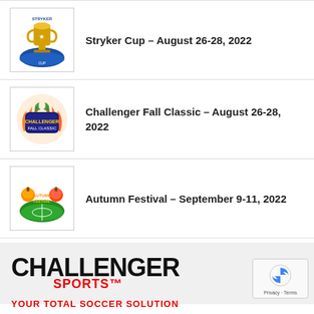Stryker Cup – August 26-28, 2022
Challenger Fall Classic – August 26-28, 2022
Autumn Festival – September 9-11, 2022
[Figure (logo): Challenger Sports logo with CHALLENGER in bold black and SPORTS in red, tagline YOUR TOTAL SOCCER SOLUTION]
YOUR TOTAL SOCCER SOLUTION